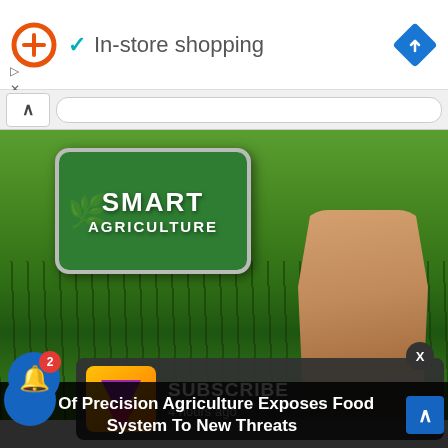[Figure (screenshot): Ad bar with orange circle-plus logo, teal checkmark, 'In-store shopping' text, and blue diamond navigation icon]
In-store shopping
[Figure (photo): Smart Agriculture – hand holding smartphone displaying 'SMART AGRICULTURE' text on green screen, with lush green crop field in background]
[Figure (screenshot): Subscribe notification overlay: yellow/orange app icon with purple/pink arrow logo, 'SUBSCRIBE' text, '4 hours ago' timestamp]
SUBSCRIBE
4 hours ago
ise Of Precision Agriculture Exposes Food System To New Threats